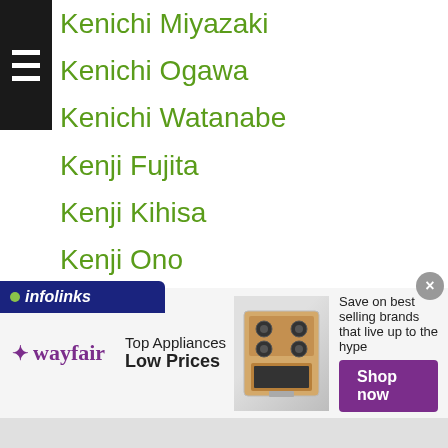Kenichi Miyazaki
Kenichi Ogawa
Kenichi Watanabe
Kenji Fujita
Kenji Kihisa
Kenji Ono
Kenji Yoshino
Ken Jordan
Ken Koibuchi
Kenny Demecillo
Ken Osato
Kensei Hirano
Kenshi Noda
Kenshin Oshima
Kenshiro
Ken Shiro
[Figure (infographic): Wayfair advertisement banner: Top Appliances Low Prices, Save on best selling brands that live up to the hype, Shop now button, with stove image]